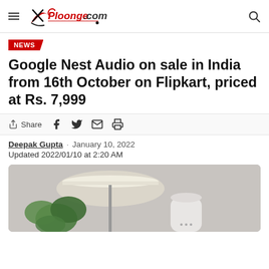Ploonge.com
NEWS
Google Nest Audio on sale in India from 16th October on Flipkart, priced at Rs. 7,999
Share
Deepak Gupta · January 10, 2022
Updated 2022/01/10 at 2:20 AM
[Figure (photo): Google Nest Audio smart speaker on a table next to a plant, with a lamp overhead illuminating the scene.]